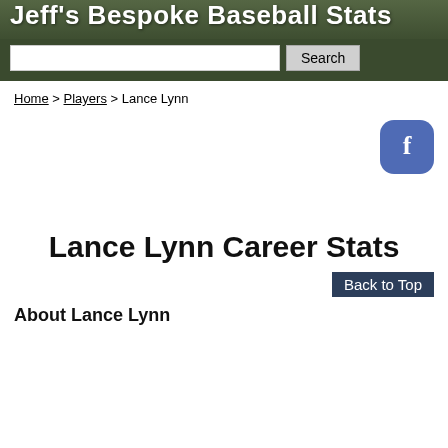Jeff's Bespoke Baseball Stats
Home > Players > Lance Lynn
[Figure (logo): Facebook button - blue rounded square with white 'f' letter]
Lance Lynn Career Stats
Back to Top
About Lance Lynn